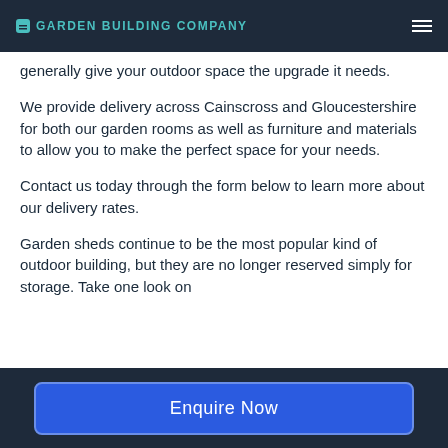GARDEN BUILDING COMPANY
generally give your outdoor space the upgrade it needs.
We provide delivery across Cainscross and Gloucestershire for both our garden rooms as well as furniture and materials to allow you to make the perfect space for your needs.
Contact us today through the form below to learn more about our delivery rates.
Garden sheds continue to be the most popular kind of outdoor building, but they are no longer reserved simply for storage. Take one look on
Enquire Now